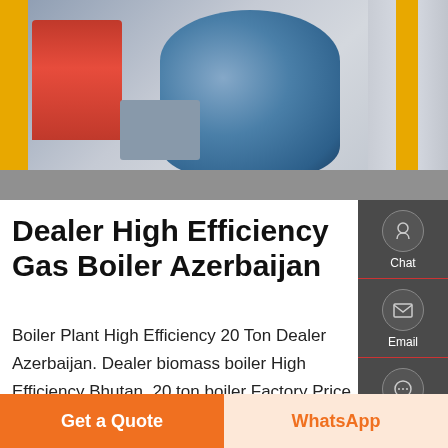[Figure (photo): Industrial gas boiler equipment photograph showing red boiler unit, blue cylindrical tank, yellow pipes and tubes in a factory/industrial setting]
Dealer High Efficiency Gas Boiler Azerbaijan
Boiler Plant High Efficiency 20 Ton Dealer Azerbaijan. Dealer biomass boiler High Efficiency Bhutan. 20 ton boiler Factory Price Azerbaijan · 8 ton Industrial hot food natural gas hot water vacuum water tube boiler for sale 1ton oil steam boiler price a8C Lng fired boiler suppli 0.35MW-7MW Diesel Oil Fired Hot Water
Chat
Email
Contact
Get a Quote | WhatsApp